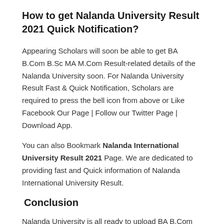How to get Nalanda University Result 2021 Quick Notification?
Appearing Scholars will soon be able to get BA B.Com B.Sc MA M.Com Result-related details of the Nalanda University soon. For Nalanda University Result Fast & Quick Notification, Scholars are required to press the bell icon from above or Like Facebook Our Page | Follow our Twitter Page | Download App.
You can also Bookmark Nalanda International University Result 2021 Page. We are dedicated to providing fast and Quick information of Nalanda International University Result.
Conclusion
Nalanda University is all ready to upload BA B.Com B.Sc MA